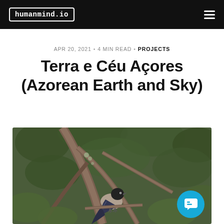humanmind.io
APR 20, 2021 • 4 MIN READ • PROJECTS
Terra e Céu Açores (Azorean Earth and Sky)
[Figure (photo): A bird perched on a branch in a leafy natural setting, with dark head, grey-brown body and blue-black wings and tail.]